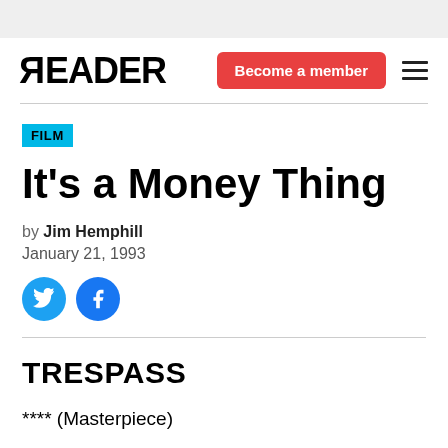READER
FILM
It's a Money Thing
by Jim Hemphill
January 21, 1993
TRESPASS
**** (Masterpiece)